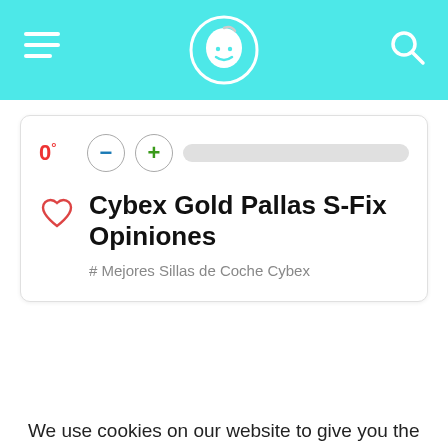Navigation header with logo and search icon
Cybex Gold Pallas S-Fix Opiniones
# Mejores Sillas de Coche Cybex
We use cookies on our website to give you the most relevant experience by remembering your preferences and repeat visits. By clicking "Accept All", you consent to the use of ALL the cookies. However, you may visit "Cookie Settings" to provide a controlled consent.